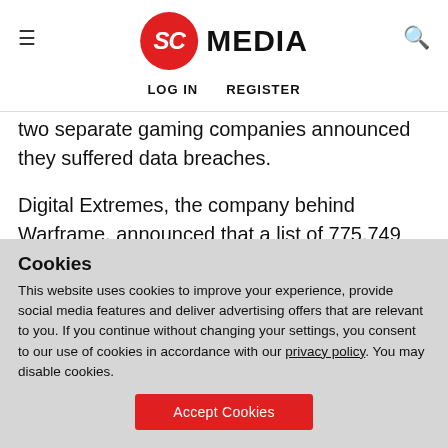SC MEDIA | LOG IN  REGISTER
two separate gaming companies announced they suffered data breaches.
Digital Extremes, the company behind Warframe, announced that a list of 775,749 email addresses was compromised after an attacker exploited a Drupal SQL exploit that was patched by Drupal two weeks after the breach occurred,
Cookies
This website uses cookies to improve your experience, provide social media features and deliver advertising offers that are relevant to you. If you continue without changing your settings, you consent to our use of cookies in accordance with our privacy policy. You may disable cookies.
Accept Cookies